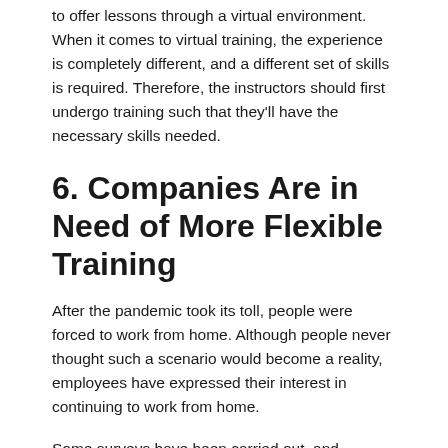to offer lessons through a virtual environment. When it comes to virtual training, the experience is completely different, and a different set of skills is required. Therefore, the instructors should first undergo training such that they'll have the necessary skills needed.
6. Companies Are in Need of More Flexible Training
After the pandemic took its toll, people were forced to work from home. Although people never thought such a scenario would become a reality, employees have expressed their interest in continuing to work from home.
Some surveys have been carried out, and currently, the training programs in companies are supposed to be more flexible such that the employees can get the training they need at opportune moments.